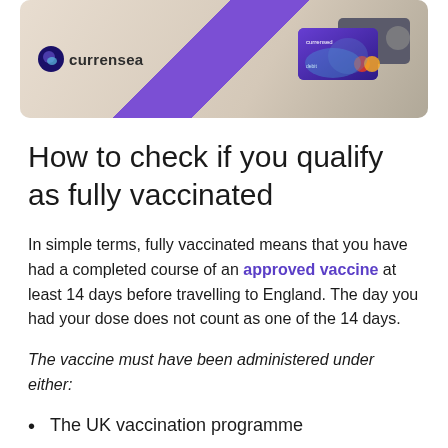[Figure (photo): Currensea branded banner showing logo on left and debit card images on right with purple diagonal stripe]
How to check if you qualify as fully vaccinated
In simple terms, fully vaccinated means that you have had a completed course of an approved vaccine at least 14 days before travelling to England. The day you had your dose does not count as one of the 14 days.
The vaccine must have been administered under either:
The UK vaccination programme